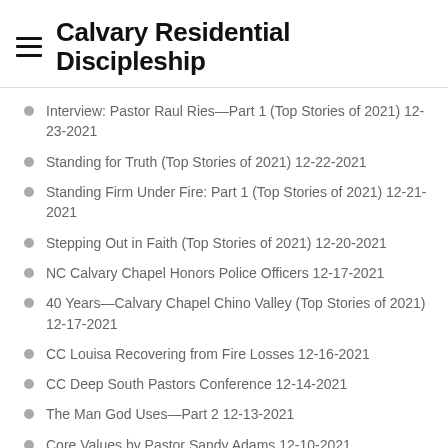Calvary Residential Discipleship
Interview: Pastor Raul Ries—Part 1 (Top Stories of 2021) 12-23-2021
Standing for Truth (Top Stories of 2021) 12-22-2021
Standing Firm Under Fire: Part 1 (Top Stories of 2021) 12-21-2021
Stepping Out in Faith (Top Stories of 2021) 12-20-2021
NC Calvary Chapel Honors Police Officers 12-17-2021
40 Years—Calvary Chapel Chino Valley (Top Stories of 2021) 12-17-2021
CC Louisa Recovering from Fire Losses 12-16-2021
CC Deep South Pastors Conference 12-14-2021
The Man God Uses—Part 2 12-13-2021
Core Values by Pastor Sandy Adams 12-10-2021
Calvary Corvallis Mission Trip in Mexico 12-09-2021